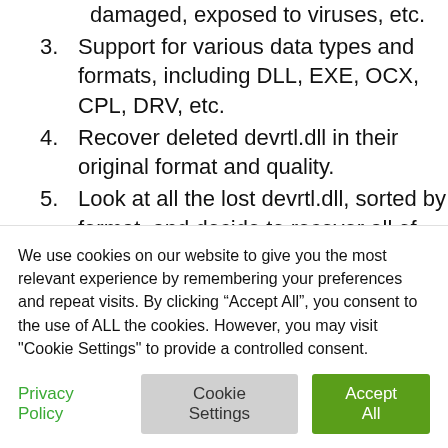damaged, exposed to viruses, etc.
3. Support for various data types and formats, including DLL, EXE, OCX, CPL, DRV, etc.
4. Recover deleted devrtl.dll in their original format and quality.
5. Look at all the lost devrtl.dll, sorted by format, and decide to recover all of them or a few specific ones.
6. Besides devrtl.dll, you can also recover...
We use cookies on our website to give you the most relevant experience by remembering your preferences and repeat visits. By clicking “Accept All”, you consent to the use of ALL the cookies. However, you may visit "Cookie Settings" to provide a controlled consent.